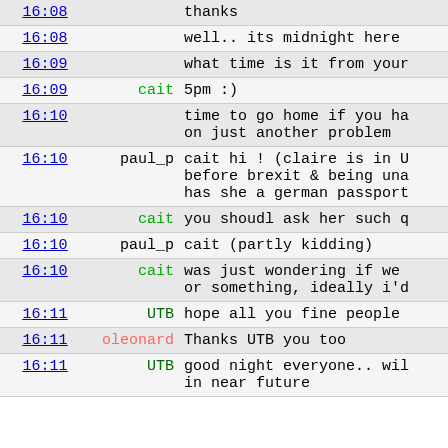| time | user | message |
| --- | --- | --- |
| 16:08 |  | thanks |
| 16:08 |  | well.. its midnight here |
| 16:09 |  | what time is it from your |
| 16:09 | cait | 5pm :) |
| 16:10 |  | time to go home if you ha on just another problem |
| 16:10 | paul_p | cait hi ! (claire is in U before brexit & being una has she a german passport |
| 16:10 | cait | you shoudl ask her such q |
| 16:10 | paul_p | cait (partly kidding) |
| 16:10 | cait | was just wondering if we or something, ideally i'd |
| 16:11 | UTB | hope all you fine people |
| 16:11 | oleonard | Thanks UTB you too |
| 16:11 | UTB | good night everyone.. wil in near future |